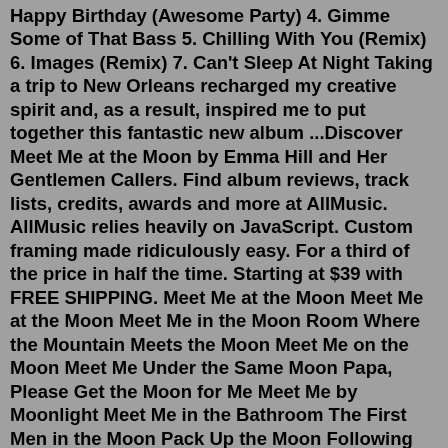Happy Birthday (Awesome Party) 4. Gimme Some of That Bass 5. Chilling With You (Remix) 6. Images (Remix) 7. Can't Sleep At Night Taking a trip to New Orleans recharged my creative spirit and, as a result, inspired me to put together this fantastic new album ...Discover Meet Me at the Moon by Emma Hill and Her Gentlemen Callers. Find album reviews, track lists, credits, awards and more at AllMusic. AllMusic relies heavily on JavaScript. Custom framing made ridiculously easy. For a third of the price in half the time. Starting at $39 with FREE SHIPPING. Meet Me at the Moon Meet Me at the Moon Meet Me in the Moon Room Where the Mountain Meets the Moon Meet Me on the Moon Meet Me Under the Same Moon Papa, Please Get the Moon for Me Meet Me by Moonlight Meet Me in the Bathroom The First Men in the Moon Pack Up the Moon Following Papa's Song I'll Meet You Where the Moon Touches the Water Too Tall ...But I went for it. He seemed to like me. I thought he was interesting and I loved talking to him. He was a friend of a friend on Facebook. What